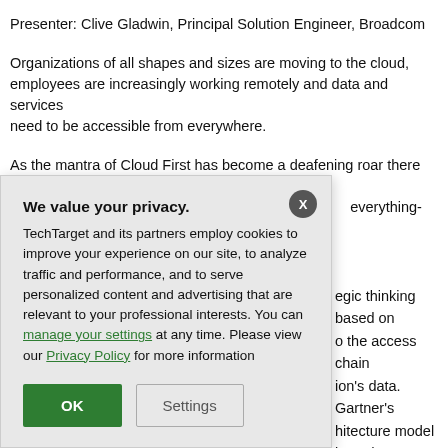Presenter: Clive Gladwin, Principal Solution Engineer, Broadcom
Organizations of all shapes and sizes are moving to the cloud, employees are increasingly working remotely and data and services need to be accessible from everywhere.
As the mantra of Cloud First has become a deafening roar there has been a wide adoption of cloud computing and everything-as-a-service has led to the emergence of two key frameworks: Secure Access Service Edge (SASE)...
...strategic thinking based on zero trust, to the access chain and organisation's data. Gartner's architecture model based on a set of associated...
[Figure (screenshot): A privacy consent modal dialog overlay. Title: 'We value your privacy.' Body text: 'TechTarget and its partners employ cookies to improve your experience on our site, to analyze traffic and performance, and to serve personalized content and advertising that are relevant to your professional interests. You can manage your settings at any time. Please view our Privacy Policy for more information'. Buttons: OK (green filled), Settings (outlined). Close X button at top right.]